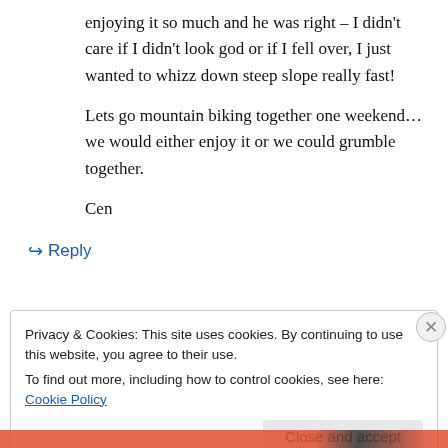enjoying it so much and he was right – I didn't care if I didn't look god or if I fell over, I just wanted to whizz down steep slope really fast!
Lets go mountain biking together one weekend…we would either enjoy it or we could grumble together.
Cen
↳ Reply
Privacy & Cookies: This site uses cookies. By continuing to use this website, you agree to their use.
To find out more, including how to control cookies, see here: Cookie Policy
Close and accept